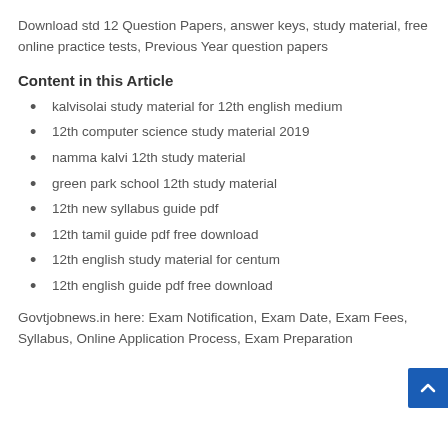Download std 12 Question Papers, answer keys, study material, free online practice tests, Previous Year question papers
Content in this Article
kalvisolai study material for 12th english medium
12th computer science study material 2019
namma kalvi 12th study material
green park school 12th study material
12th new syllabus guide pdf
12th tamil guide pdf free download
12th english study material for centum
12th english guide pdf free download
Govtjobnews.in here: Exam Notification, Exam Date, Exam Fees, Syllabus, Online Application Process, Exam Preparation